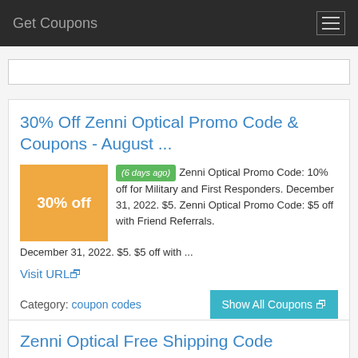Get Coupons
[Figure (other): Search bar input field]
30% Off Zenni Optical Promo Code & Coupons - August ...
(6 days ago) Zenni Optical Promo Code: 10% off for Military and First Responders. December 31, 2022. $5. Zenni Optical Promo Code: $5 off with Friend Referrals. December 31, 2022. $5. $5 off with ...
Visit URL
Category: coupon codes
Show All Coupons
Zenni Optical Free Shipping Code